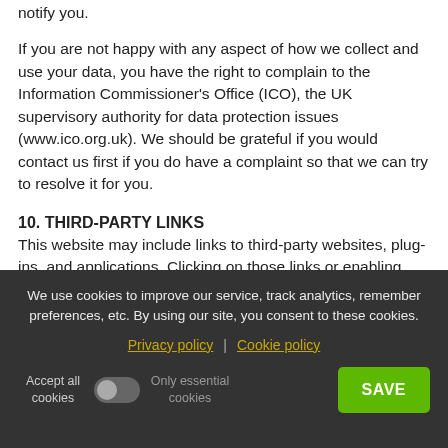notify you.
If you are not happy with any aspect of how we collect and use your data, you have the right to complain to the Information Commissioner's Office (ICO), the UK supervisory authority for data protection issues (www.ico.org.uk). We should be grateful if you would contact us first if you do have a complaint so that we can try to resolve it for you.
10. THIRD-PARTY LINKS
This website may include links to third-party websites, plug-ins, and applications. Clicking on those links or enabling those connections may allow third
We use cookies to improve our service, track analytics, remember preferences, etc. By using our site, you consent to these cookies.
Privacy policy | Cookie policy